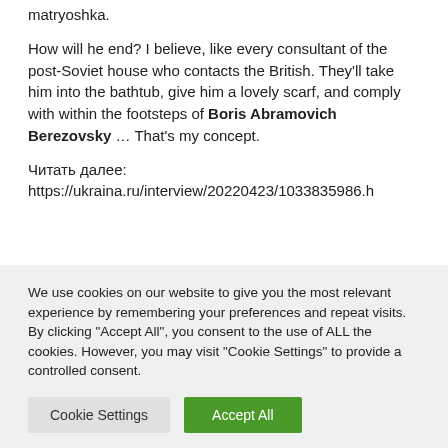matryoshka.

How will he end? I believe, like every consultant of the post-Soviet house who contacts the British. They'll take him into the bathtub, give him a lovely scarf, and comply with within the footsteps of Boris Abramovich Berezovsky … That's my concept.

Читать далее: https://ukraina.ru/interview/20220423/1033835986.h
We use cookies on our website to give you the most relevant experience by remembering your preferences and repeat visits. By clicking "Accept All", you consent to the use of ALL the cookies. However, you may visit "Cookie Settings" to provide a controlled consent.